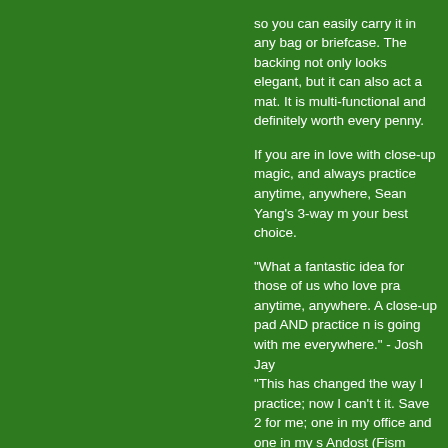so you can easily carry it in any bag or briefcase. The backing not only looks elegant, but it can also act as a mat. It is multi-functional and definitely worth every penny.

If you are in love with close-up magic, and always practice anytime, anywhere, Sean Yang's 3-way m your best choice.

"What a fantastic idea for those of us who love pra anytime, anywhere. A close-up pad AND practice n is going with me everywhere." - Josh Jay
"This has changed the way I practice; now I can't t it. Save 2 for me; one in my office and one in my s Andost (Fism champion)

* Due to the manufacturing process, the velvet clo harbor some odor of adhesive. It will go away after of using it, so please don't be worried.

http://murphysmagic.com/Product.aspx?id=55966